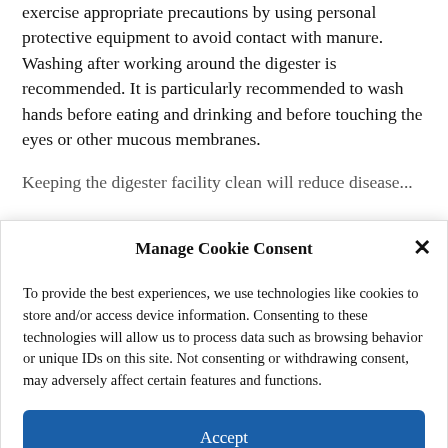exercise appropriate precautions by using personal protective equipment to avoid contact with manure. Washing after working around the digester is recommended. It is particularly recommended to wash hands before eating and drinking and before touching the eyes or other mucous membranes.
Keeping the digester facility clean will reduce disease...
Manage Cookie Consent
To provide the best experiences, we use technologies like cookies to store and/or access device information. Consenting to these technologies will allow us to process data such as browsing behavior or unique IDs on this site. Not consenting or withdrawing consent, may adversely affect certain features and functions.
Accept
Cookie Policy  Privacy Statement